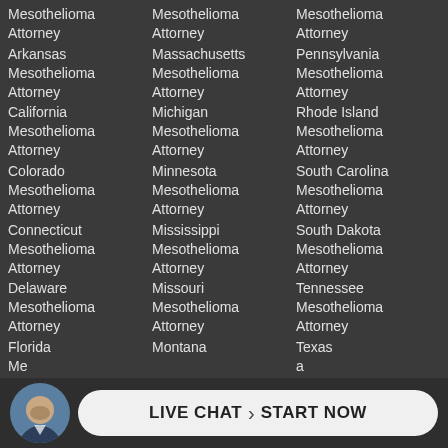Mesothelioma Attorney Arkansas Mesothelioma Attorney
Mesothelioma Attorney California Mesothelioma Attorney
Mesothelioma Attorney Colorado Mesothelioma Attorney
Mesothelioma Attorney Connecticut Mesothelioma Attorney
Mesothelioma Attorney Delaware Mesothelioma Attorney
Mesothelioma Attorney Florida Mesothelioma Attorney
Mesothelioma Attorney Massachusetts Mesothelioma Attorney
Mesothelioma Attorney Michigan Mesothelioma Attorney
Mesothelioma Attorney Minnesota Mesothelioma Attorney
Mesothelioma Attorney Mississippi Mesothelioma Attorney
Mesothelioma Attorney Missouri Mesothelioma Attorney
Mesothelioma Attorney Montana
Mesothelioma Attorney Pennsylvania Mesothelioma Attorney
Mesothelioma Attorney Rhode Island Mesothelioma Attorney
Mesothelioma Attorney South Carolina Mesothelioma Attorney
Mesothelioma Attorney South Dakota Mesothelioma Attorney
Mesothelioma Attorney Tennessee Mesothelioma Attorney
Mesothelioma Attorney Texas Mesothelioma Attorney